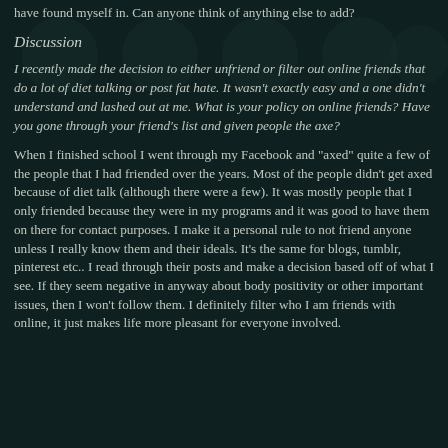have found myself in. Can anyone think of anything else to add?
Discussion
I recently made the decision to either unfriend or filter out online friends that do a lot of diet talking or post fat hate. It wasn't exactly easy and a one didn't understand and lashed out at me. What is your policy on online friends? Have you gone through your friend's list and given people the axe?
When I finished school I went through my Facebook and "axed" quite a few of the people that I had friended over the years. Most of the people didn't get axed because of diet talk (although there were a few). It was mostly people that I only friended because they were in my programs and it was good to have them on there for contact purposes. I make it a personal rule to not friend anyone unless I really know them and their ideals. It's the same for blogs, tumblr, pinterest etc.. I read through their posts and make a decision based off of what I see. If they seem negative in anyway about body positivity or other important issues, then I won't follow them. I definitely filter who I am friends with online, it just makes life more pleasant for everyone involved.